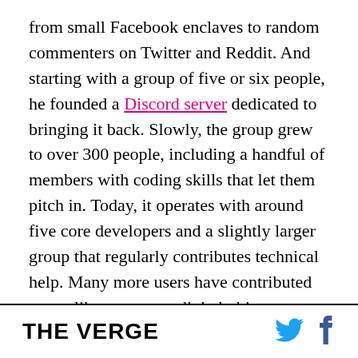from small Facebook enclaves to random commenters on Twitter and Reddit. And starting with a group of five or six people, he founded a Discord server dedicated to bringing it back. Slowly, the group grew to over 300 people, including a handful of members with coding skills that let them pitch in. Today, it operates with around five core developers and a slightly larger group that regularly contributes technical help. Many more users have contributed assets like avatars or digital objects, scouring the internet or their old offline collections to find them.

Virtual worlds can produce memories as meaningful as physical ones; people meet new friends, learn
THE VERGE